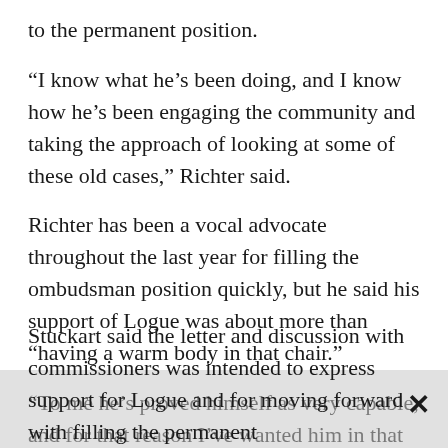to the permanent position.
“I know what he’s been doing, and I know how he’s been engaging the community and taking the approach of looking at some of these old cases,” Richter said.
Richter has been a vocal advocate throughout the last year for filling the ombudsman position quickly, but he said his support of Logue was about more than “having a warm body in that chair.”
“To me he’s proved himself as very capable, and for that reason I’ve wanted him in that position for a while now,” Richter said.
Stuckart said the letter and discussion with commissioners was intended to express support for Logue and for moving forward with filling the permanent